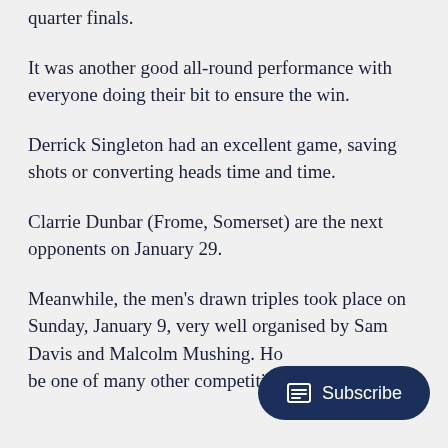quarter finals.
It was another good all-round performance with everyone doing their bit to ensure the win.
Derrick Singleton had an excellent game, saving shots or converting heads time and time.
Clarrie Dunbar (Frome, Somerset) are the next opponents on January 29.
Meanwhile, the men's drawn triples took place on Sunday, January 9, very well organised by Sam Davis and Malcolm Mushing. Ho... be one of many other competitio...